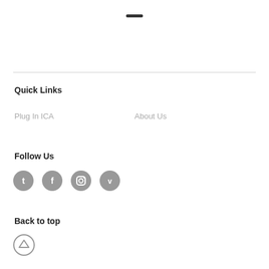Quick Links
Plug In ICA
About Us
Follow Us
[Figure (illustration): Four social media icons in grey circles: Twitter, Facebook, Instagram, Vimeo]
Back to top
[Figure (illustration): Upward arrow in a grey circle for back-to-top navigation]